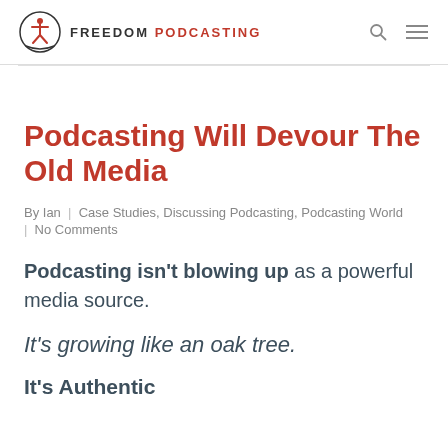FREEDOM PODCASTING
Podcasting Will Devour The Old Media
By Ian | Case Studies, Discussing Podcasting, Podcasting World | No Comments
Podcasting isn't blowing up as a powerful media source.
It's growing like an oak tree.
It's Authentic